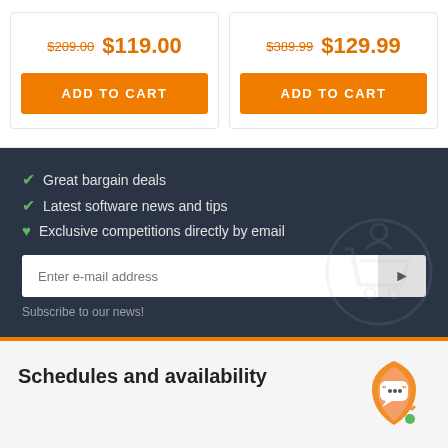$209.00  $119.00
$389.99  $129.99
ADD TO CART
ADD TO CART
Great bargain deals
Latest software news and tips
Exclusive competitions directly by email
Enter e-mail address
Subscribe to our news!
Schedules and availability